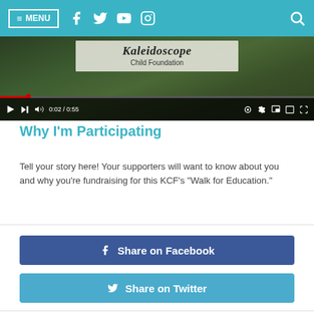≡ MENU  [Facebook] [Twitter] [YouTube] [Instagram]  [Search]
[Figure (screenshot): Video player showing Kaleidoscope Child Foundation sign with video playback controls, progress bar at 0:02/0:55]
Why I'm Participating
Tell your story here! Your supporters will want to know about you and why you're fundraising for this KCF's "Walk for Education."
[Figure (other): Share on Facebook button - blue button with Facebook icon]
[Figure (other): Share on Twitter button - teal button with Twitter bird icon]